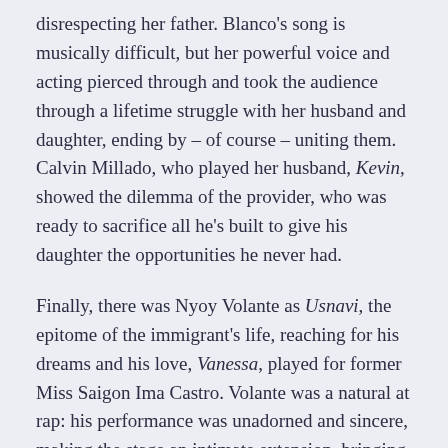disrespecting her father. Blanco's song is musically difficult, but her powerful voice and acting pierced through and took the audience through a lifetime struggle with her husband and daughter, ending by – of course – uniting them. Calvin Millado, who played her husband, Kevin, showed the dilemma of the provider, who was ready to sacrifice all he's built to give his daughter the opportunities he never had.
Finally, there was Nyoy Volante as Usnavi, the epitome of the immigrant's life, reaching for his dreams and his love, Vanessa, played for former Miss Saigon Ima Castro. Volante was a natural at rap: his performance was unadorned and sincere, making the stage an intimate extension, bringing the audience into the world of the play. He was another revelation. Again, he